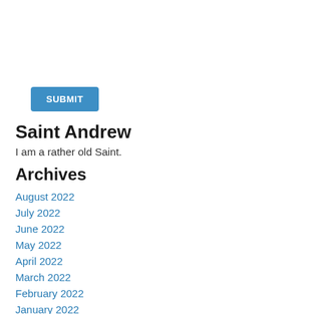[Figure (other): Blue SUBMIT button]
Saint Andrew
I am a rather old Saint.
Archives
August 2022
July 2022
June 2022
May 2022
April 2022
March 2022
February 2022
January 2022
December 2021
November 2021
October 2021
September 2021